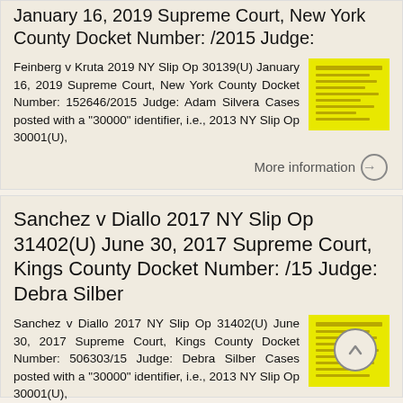January 16, 2019 Supreme Court, New York County Docket Number: /2015 Judge:
Feinberg v Kruta 2019 NY Slip Op 30139(U) January 16, 2019 Supreme Court, New York County Docket Number: 152646/2015 Judge: Adam Silvera Cases posted with a "30000" identifier, i.e., 2013 NY Slip Op 30001(U),
More information →
Sanchez v Diallo 2017 NY Slip Op 31402(U) June 30, 2017 Supreme Court, Kings County Docket Number: /15 Judge: Debra Silber
Sanchez v Diallo 2017 NY Slip Op 31402(U) June 30, 2017 Supreme Court, Kings County Docket Number: 506303/15 Judge: Debra Silber Cases posted with a "30000" identifier, i.e., 2013 NY Slip Op 30001(U),